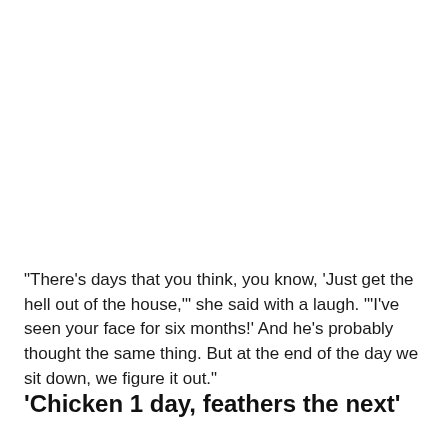"There's days that you think, you know, 'Just get the hell out of the house,'" she said with a laugh. "'I've seen your face for six months!' And he's probably thought the same thing. But at the end of the day we sit down, we figure it out."
'Chicken 1 day, feathers the next'